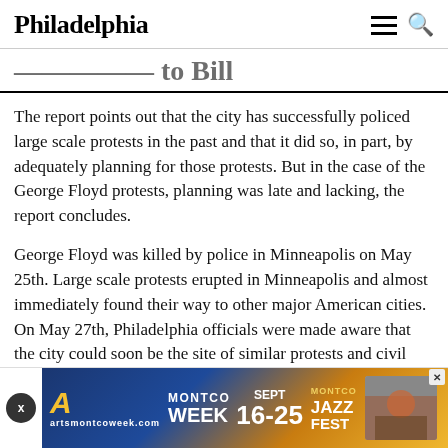Philadelphia
...itled to Bill
The report points out that the city has successfully policed large scale protests in the past and that it did so, in part, by adequately planning for those protests. But in the case of the George Floyd protests, planning was late and lacking, the report concludes.
George Floyd was killed by police in Minneapolis on May 25th. Large scale protests erupted in Minneapolis and almost immediately found their way to other major American cities. On May 27th, Philadelphia officials were made aware that the city could soon be the site of similar protests and civil unrest, but the report maintains that the government didn't actually begin to plan for these
[Figure (other): Advertisement banner for Montco Week Sept 16-25 and Montco Jazz Fest, artsmontcoweek.com]